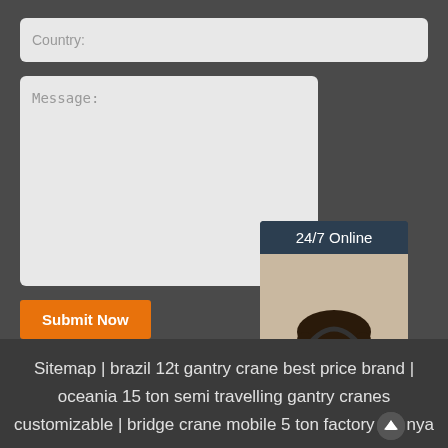Country:
Message:
24/7 Online
[Figure (photo): Customer service representative wearing headset, smiling]
Click here for free chat !
QUOTATION
Submit Now
Sitemap | brazil 12t gantry crane best price brand | oceania 15 ton semi travelling gantry cranes customizable | bridge crane mobile 5 ton factory kenya